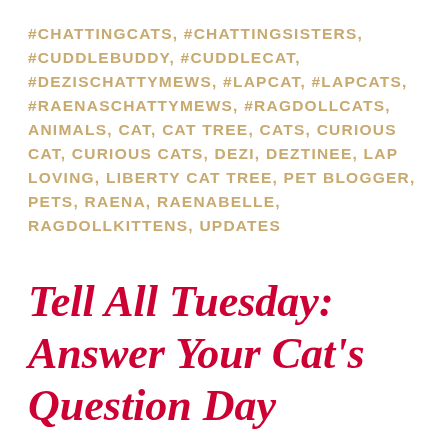#CHATTINGCATS, #CHATTINGSISTERS, #CUDDLEBUDDY, #CUDDLECAT, #DEZISCHATTYMEWS, #LAPCAT, #LAPCATS, #RAENASCHATTYMEWS, #RAGDOLLCATS, ANIMALS, CAT, CAT TREE, CATS, CURIOUS CAT, CURIOUS CATS, DEZI, DEZTINEE, LAP LOVING, LIBERTY CAT TREE, PET BLOGGER, PETS, RAENA, RAENABELLE, RAGDOLLKITTENS, UPDATES
Tell All Tuesday: Answer Your Cat's Question Day